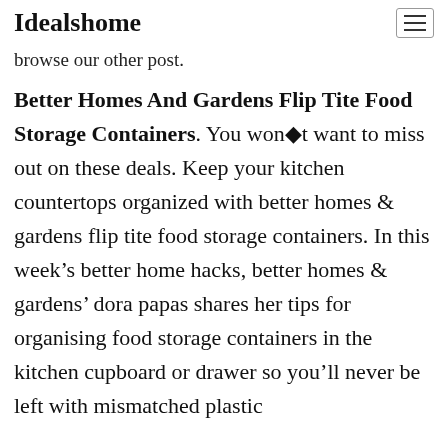Idealshome
browse our other post.
Better Homes And Gardens Flip Tite Food Storage Containers. You won●t want to miss out on these deals. Keep your kitchen countertops organized with better homes & gardens flip tite food storage containers. In this week’s better home hacks, better homes & gardens’ dora papas shares her tips for organising food storage containers in the kitchen cupboard or drawer so you’ll never be left with mismatched plastic